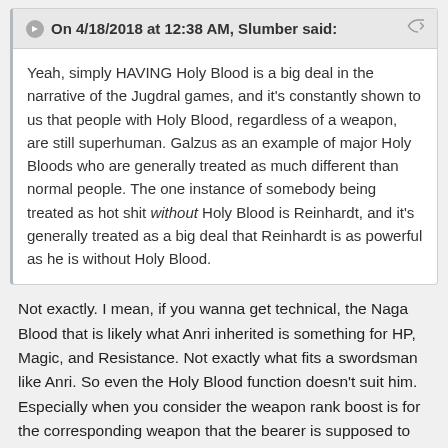On 4/18/2018 at 12:38 AM, Slumber said:
Yeah, simply HAVING Holy Blood is a big deal in the narrative of the Jugdral games, and it's constantly shown to us that people with Holy Blood, regardless of a weapon, are still superhuman. Galzus as an example of major Holy Bloods who are generally treated as much different than normal people. The one instance of somebody being treated as hot shit without Holy Blood is Reinhardt, and it's generally treated as a big deal that Reinhardt is as powerful as he is without Holy Blood.
Not exactly. I mean, if you wanna get technical, the Naga Blood that is likely what Anri inherited is something for HP, Magic, and Resistance. Not exactly what fits a swordsman like Anri. So even the Holy Blood function doesn't suit him. Especially when you consider the weapon rank boost is for the corresponding weapon that the bearer is supposed to use, being the Book of Naga. So it still isn't undermining at all.
Also, let's not forget that Anri was a peasant, and thus had no kind of training at all, nor any kind of access to resources, especially given that he went on this journey in wartime. So with all that, he still ventured